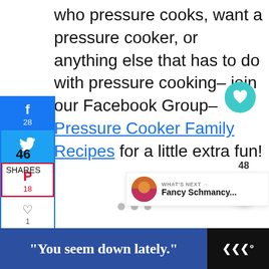who pressure cooks, want a pressure cooker, or anything else that has to do with pressure cooking– join our Facebook Group– Pressure Cooker Family Recipes for a little extra fun!
[Figure (other): Social media share sidebar with Facebook (28), Twitter, Pinterest (18), heart/like (1), email, and LinkedIn buttons]
46 SHARES
[Figure (other): Floating action buttons: teal heart button and share button with count 48]
[Figure (other): What's Next panel with thumbnail and text: Fancy Schmancy...]
[Figure (other): Advertisement banner: blue panel with text 'You seem down lately.' on dark background with logo on right]